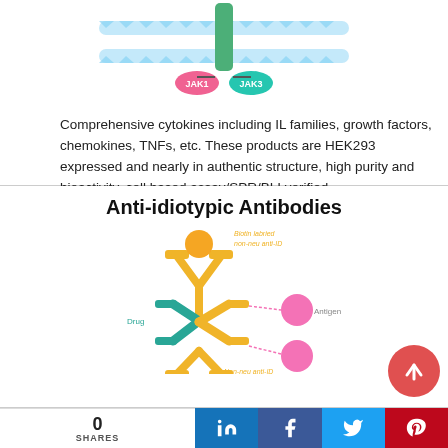[Figure (illustration): Diagram of JAK1 and JAK3 kinases associated with a cell membrane receptor, shown as colored cylindrical structures passing through a membrane bilayer with JAK1 (pink) and JAK3 (teal/green) labeled at the bottom.]
Comprehensive cytokines including IL families, growth factors, chemokines, TNFs, etc. These products are HEK293 expressed and nearly in authentic structure, high purity and bioactivity, cell based assay/SPR/BLI verified.
Anti-idiotypic Antibodies
[Figure (illustration): Diagram showing anti-idiotypic antibody interactions: a biotin labeled non-neu anti-ID antibody (gold Y-shape) at top, a Drug antibody (teal) in center binding to an Antigen (pink circle) on right, and a Non-neu anti-ID antibody (gold) at bottom binding to another pink circle.]
To support preclinical/clinical immunogenicity and PK analysis, ACROBiosystems has developed a series of high-affinity anti-idiotypic antibodies. Our pipeline covers five hot
0 SHARES  in  f  t  p